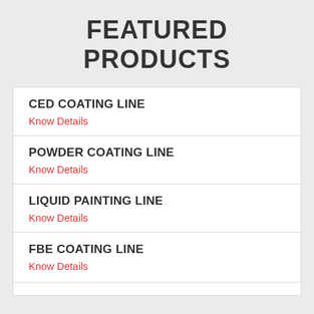FEATURED PRODUCTS
CED COATING LINE
Know Details
POWDER COATING LINE
Know Details
LIQUID PAINTING LINE
Know Details
FBE COATING LINE
Know Details